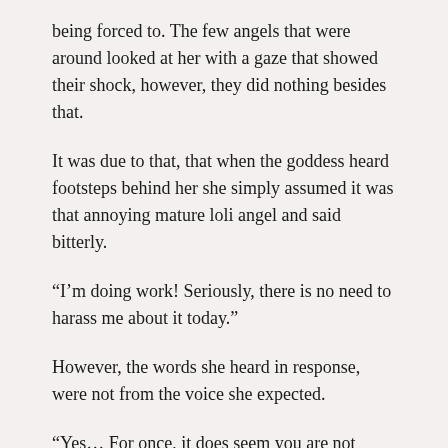being forced to. The few angels that were around looked at her with a gaze that showed their shock, however, they did nothing besides that.
It was due to that, that when the goddess heard footsteps behind her she simply assumed it was that annoying mature loli angel and said bitterly.
“I’m doing work! Seriously, there is no need to harass me about it today.”
However, the words she heard in response, were not from the voice she expected.
“Yes… For once, it does seem you are not focused on a particular brat.”
The goddess turned around to look at the voice, which sounded particularly musical and lovely. If she were not a goddess, she